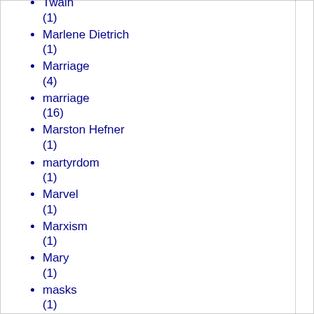Twain (1)
Marlene Dietrich (1)
Marriage (4)
marriage (16)
Marston Hefner (1)
martyrdom (1)
Marvel (1)
Marxism (1)
Mary (1)
masks (1)
mass murder (1)